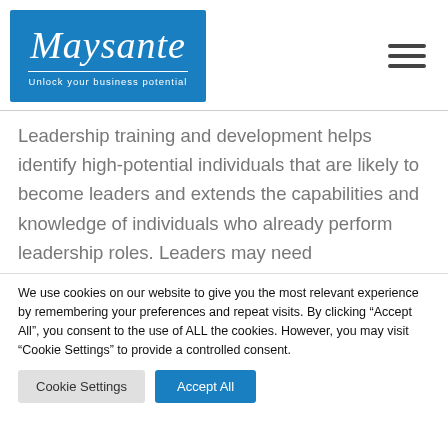[Figure (logo): Maysante logo — blue rectangle with italic script 'Maysante' and tagline 'Unlock your business potential']
Leadership training and development helps identify high-potential individuals that are likely to become leaders and extends the capabilities and knowledge of individuals who already perform leadership roles. Leaders may need
We use cookies on our website to give you the most relevant experience by remembering your preferences and repeat visits. By clicking "Accept All", you consent to the use of ALL the cookies. However, you may visit "Cookie Settings" to provide a controlled consent.